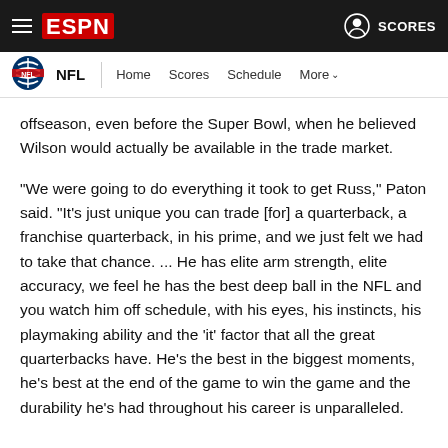ESPN — NFL | Home  Scores  Schedule  More
offseason, even before the Super Bowl, when he believed Wilson would actually be available in the trade market.
"We were going to do everything it took to get Russ," Paton said. "It's just unique you can trade [for] a quarterback, a franchise quarterback, in his prime, and we just felt we had to take that chance. ... He has elite arm strength, elite accuracy, we feel he has the best deep ball in the NFL and you watch him off schedule, with his eyes, his instincts, his playmaking ability and the 'it' factor that all the great quarterbacks have. He's the best in the biggest moments, he's best at the end of the game to win the game and the durability he's had throughout his career is unparalleled.